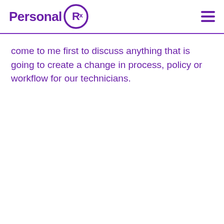Personal Rx
come to me first to discuss anything that is going to create a change in process, policy or workflow for our technicians.